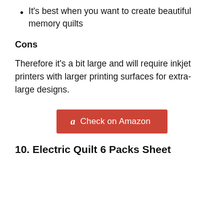It's best when you want to create beautiful memory quilts
Cons
Therefore it's a bit large and will require inkjet printers with larger printing surfaces for extra-large designs.
[Figure (other): Red Amazon button with 'a' logo and text 'Check on Amazon']
10. Electric Quilt 6 Packs Sheet